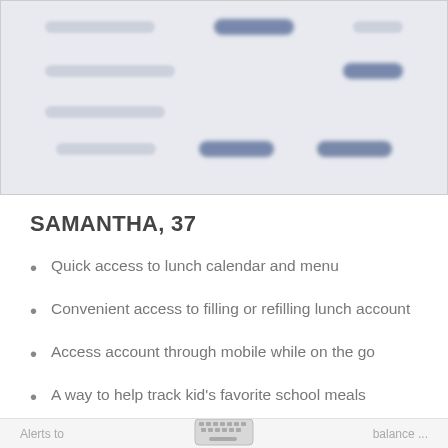[Figure (screenshot): Blurred mobile app screenshot showing a UI with blurred text fields and buttons on a light grey background]
SAMANTHA, 37
Quick access to lunch calendar and menu
Convenient access to filling or refilling lunch account
Access account through mobile while on the go
A way to help track kid's favorite school meals
Alerts to ... balance ...